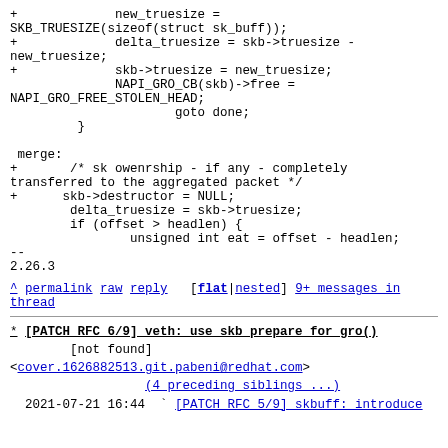+ new_truesize =
SKB_TRUESIZE(sizeof(struct sk_buff));
+ delta_truesize = skb->truesize -
new_truesize;
+ skb->truesize = new_truesize;
 NAPI_GRO_CB(skb)->free =
NAPI_GRO_FREE_STOLEN_HEAD;
 goto done;
 }

 merge:
+ /* sk owenrship - if any - completely transferred to the aggregated packet */
+ skb->destructor = NULL;
 delta_truesize = skb->truesize;
 if (offset > headlen) {
 unsigned int eat = offset - headlen;
--
2.26.3
^ permalink raw reply [flat|nested] 9+ messages in thread
* [PATCH RFC 6/9] veth: use skb_prepare_for_gro()
 [not found]
<cover.1626882513.git.pabeni@redhat.com>
 (4 preceding siblings ...)
 2021-07-21 16:44 ` [PATCH RFC 5/9] skbuff: introduce